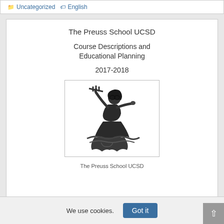Uncategorized   English
The Preuss School UCSD
Course Descriptions and Educational Planning
2017-2018
[Figure (illustration): Black and white illustration of a Triton/Neptune mascot holding a trident, positioned dynamically on a wave.]
The Preuss School UCSD
We use cookies.
Got it